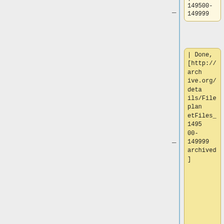| 149500-149999
| Done, [http://archive.org/details/FileplanetFiles_149500-149999 archived]
| 221
| 9G
| Schbirid
|-
| 150000-150499
| Done, [http://arch